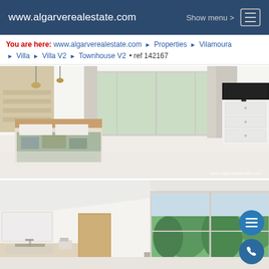www.algarverealestate.com   Show menu >  [≡]
You are here: www.algarverealestate.com ▶ Properties ▶ Vilamoura ▶ Villa ▶ Villa V2 ▶ Townhouse V2 • ref 142167
[Figure (photo): Interior bedroom photo showing a modern white room with a bed, large glass sliding doors opening to a garden, white dresser drawers, pendant lights, and a wall-mounted TV. Watermark: www.algarverealestate.com]
[Figure (photo): Interior kitchen/living area photo showing white cabinetry, wooden accents, a modern kitchen with sink, and large floor-to-ceiling windows with a view of green pine trees outside. Floating action buttons visible on right side.]